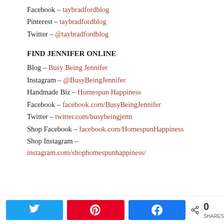Facebook – taybradfordblog
Pinterest – taybradfordblog
Twitter – @taybradfordblog
FIND JENNIFER ONLINE
Blog – Busy Being Jennifer
Instagram – @BusyBeingJennifer
Handmade Biz – Homespun Happiness
Facebook – facebook.com/BusyBeingJennifer
Twitter – twitter.com/busybeingjenn
Shop Facebook – facebook.com/HomespunHappiness
Shop Instagram – instagram.com/shophomespunhappiness/
[Figure (other): Social share bar with Twitter, Pinterest, and Facebook buttons and a share count of 0 SHARES]